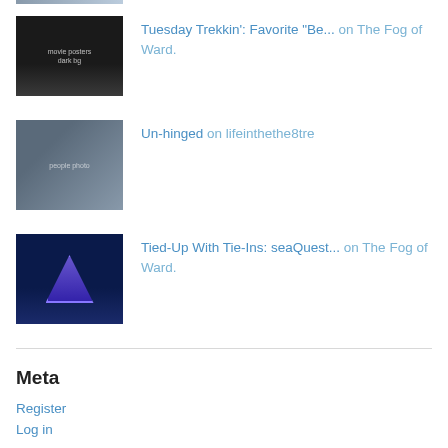[Figure (photo): Partial thumbnail image at top of page (cropped)]
Tuesday Trekkin': Favorite "Be..." on The Fog of Ward.
[Figure (photo): Thumbnail photo of people standing together]
Un-hinged on lifeinthethe8tre
[Figure (photo): Thumbnail image with blue background and triangular logo (seaQuest)]
Tied-Up With Tie-Ins: seaQuest... on The Fog of Ward.
Meta
Register
Log in